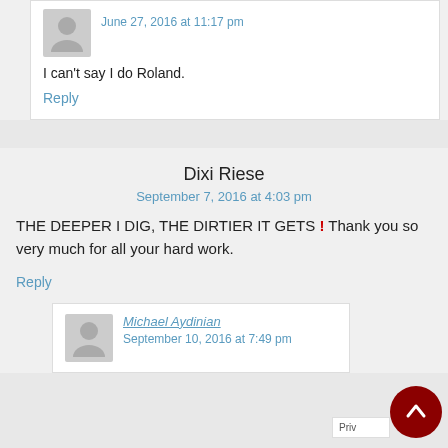I can't say I do Roland.
Reply
Dixi Riese
September 7, 2016 at 4:03 pm
THE DEEPER I DIG, THE DIRTIER IT GETS ! Thank you so very much for all your hard work.
Reply
Michael Aydinian
September 10, 2016 at 7:49 pm